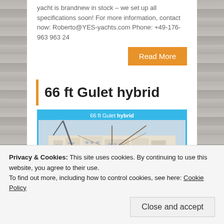yacht is brandnew in stock – we set up all specifications soon! For more information, contact now: Roberto@YES-yachts.com Phone: +49-176-963 963 24
Read More
66 ft Gulet hybrid
[Figure (photo): Photo of a 66 ft Gulet hybrid yacht docked at a marina with large buildings in the background. Image has a cyan/blue border and caption reading '66 ft Gulet hybrid'.]
Privacy & Cookies: This site uses cookies. By continuing to use this website, you agree to their use.
To find out more, including how to control cookies, see here: Cookie Policy
Close and accept
Roberto@YES-yachts.com Phone: +49-176-